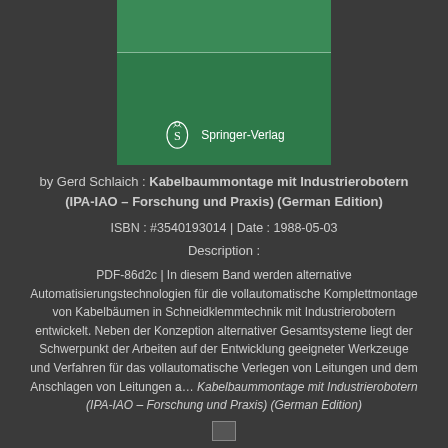[Figure (illustration): Book cover thumbnail with green background and Springer-Verlag publisher logo]
by Gerd Schlaich : Kabelbaummontage mit Industrierobotern (IPA-IAO – Forschung und Praxis) (German Edition)
ISBN : #3540193014 | Date : 1988-05-03
Description :
PDF-86d2c | In diesem Band werden alternative Automatisierungstechnologien für die vollautomatische Komplettmontage von Kabelbäumen in Schneidklemmtechnik mit Industrierobotern entwickelt. Neben der Konzeption alternativer Gesamtsysteme liegt der Schwerpunkt der Arbeiten auf der Entwicklung geeigneter Werkzeuge und Verfahren für das vollautomatische Verlegen von Leitungen und dem Anschlagen von Leitungen a… Kabelbaummontage mit Industrierobotern (IPA-IAO – Forschung und Praxis) (German Edition)